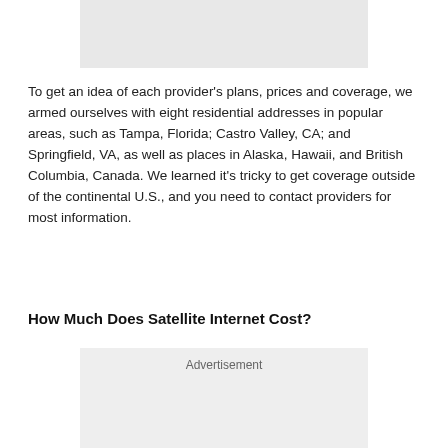[Figure (other): Gray advertisement placeholder box at top of page]
To get an idea of each provider’s plans, prices and coverage, we armed ourselves with eight residential addresses in popular areas, such as Tampa, Florida; Castro Valley, CA; and Springfield, VA, as well as places in Alaska, Hawaii, and British Columbia, Canada. We learned it’s tricky to get coverage outside of the continental U.S., and you need to contact providers for most information.
How Much Does Satellite Internet Cost?
[Figure (other): Gray advertisement placeholder box with 'Advertisement' label]